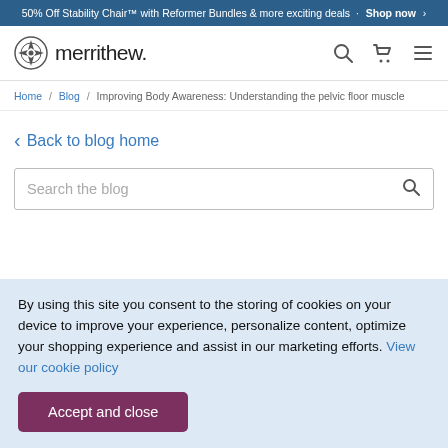50% Off Stability Chair™ with Reformer Bundles & more exciting deals · Shop now >
[Figure (logo): Merrithew logo with compass icon and wordmark]
Home / Blog / Improving Body Awareness: Understanding the pelvic floor muscle
< Back to blog home
Search the blog
By using this site you consent to the storing of cookies on your device to improve your experience, personalize content, optimize your shopping experience and assist in our marketing efforts. View our cookie policy
Accept and close